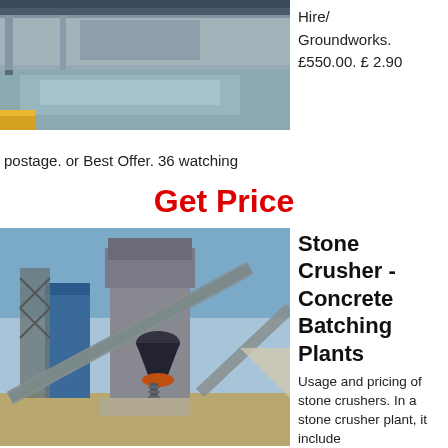[Figure (photo): Industrial facility interior with wet reflective floor, yellow safety markings visible, partially cropped at top]
Hire/ Groundworks. £550.00. £ 2.90
postage. or Best Offer. 36 watching
Get Price
[Figure (photo): Large stone crusher / concrete batching plant with conveyor belts, steel framework, cone crusher unit, blue silos, construction site background with clear sky]
Stone Crusher - Concrete Batching Plants
Usage and pricing of stone crushers. In a stone crusher plant, it include the vibrating feeder, jaw crusher, impact crusher, vibrating screen and so on. So other sto...